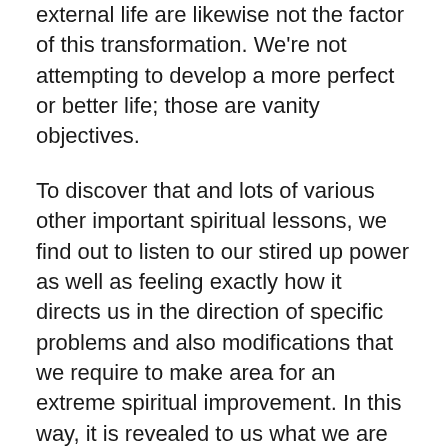external life are likewise not the factor of this transformation. We're not attempting to develop a more perfect or better life; those are vanity objectives.
To discover that and lots of various other important spiritual lessons, we find out to listen to our stired up power as well as feeling exactly how it directs us in the direction of specific problems and also modifications that we require to make area for an extreme spiritual improvement. In this way, it is revealed to us what we are changing right into.
7 Spiritual Awakening Stages